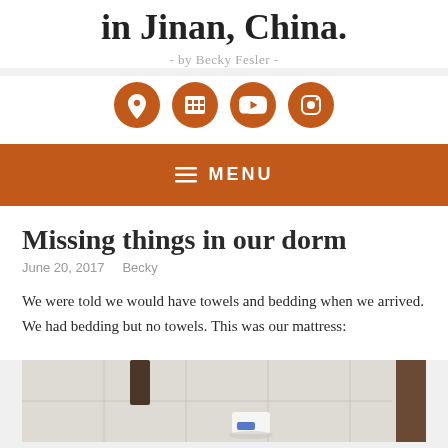in Jinan, China.
- by Becky Fesler -
[Figure (infographic): Four orange circular social media icons: Facebook, LinkedIn, Twitter, Instagram]
MENU
Missing things in our dorm
June 20, 2017    Becky
We were told we would have towels and bedding when we arrived. We had bedding but no towels. This was our mattress:
[Figure (photo): Photo of a dorm room floor with tiles, a dark furniture leg, a white object (possibly a plastic bag or item) on the tile floor, and a brown wall/door on the right edge]